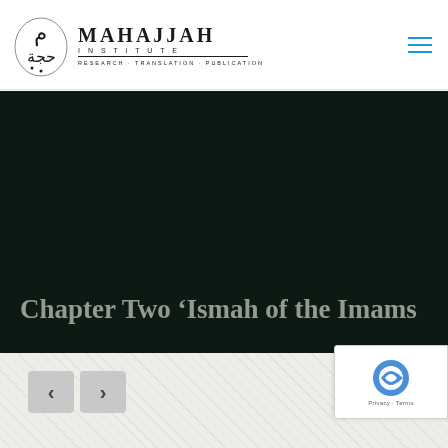MAHAJJAH INSTITUTE — RESEARCH · TRANSLATION · PUBLICATION
[Figure (logo): Mahajjah Institute logo with Arabic calligraphy and English text]
Chapter Two ‘Ismah of the Imams
[Figure (other): reCAPTCHA badge with Privacy and Terms links]
Show all